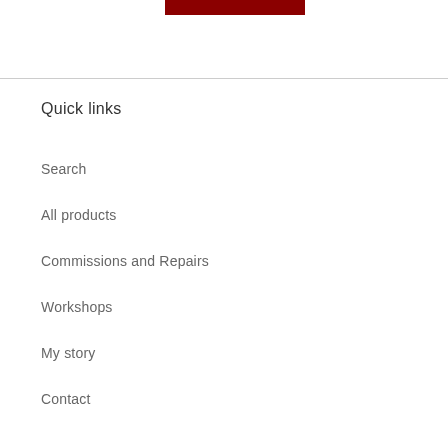[Figure (other): Dark red/maroon rectangular header bar at top center of page]
Quick links
Search
All products
Commissions and Repairs
Workshops
My story
Contact